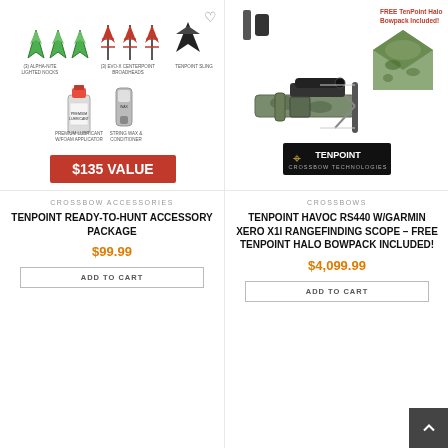[Figure (photo): TenPoint ready-to-hunt accessory package product image showing arrowheads, lubricant, string wax, with a $135 VALUE red badge]
[Figure (photo): TenPoint Havoc RS440 crossbow with Garmin Xero X1i scope, TenPoint logo, with FREE TenPoint Halo Bowpack Included! badge]
CROSSBOW ACCESSORIES
CROSSBOWS
TENPOINT READY-TO-HUNT ACCESSORY PACKAGE
TENPOINT HAVOC RS440 W/GARMIN XERO X1i RANGEFINDING SCOPE – FREE TENPOINT HALO BOWPACK INCLUDED!
$99.99
$4,099.99
ADD TO CART
ADD TO CART